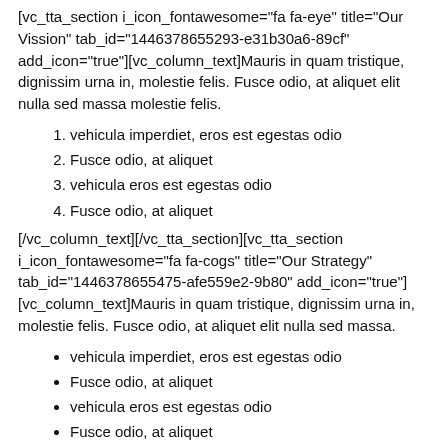[vc_tta_section i_icon_fontawesome="fa fa-eye" title="Our Vission" tab_id="1446378655293-e31b30a6-89cf" add_icon="true"][vc_column_text]Mauris in quam tristique, dignissim urna in, molestie felis. Fusce odio, at aliquet elit nulla sed massa molestie felis.
vehicula imperdiet, eros est egestas odio
Fusce odio, at aliquet
vehicula eros est egestas odio
Fusce odio, at aliquet
[/vc_column_text][/vc_tta_section][vc_tta_section i_icon_fontawesome="fa fa-cogs" title="Our Strategy" tab_id="1446378655475-afe559e2-9b80" add_icon="true"][vc_column_text]Mauris in quam tristique, dignissim urna in, molestie felis. Fusce odio, at aliquet elit nulla sed massa.
vehicula imperdiet, eros est egestas odio
Fusce odio, at aliquet
vehicula eros est egestas odio
Fusce odio, at aliquet